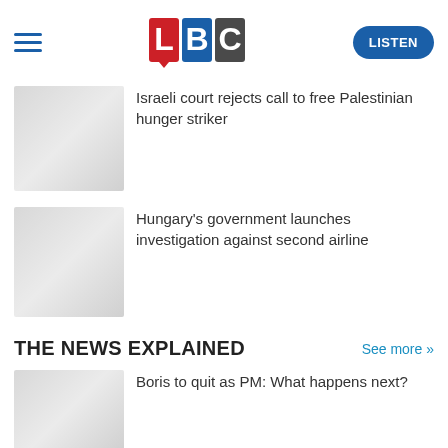[Figure (logo): LBC radio logo with L in red, B in blue, C in black/grey blocks]
Israeli court rejects call to free Palestinian hunger striker
Hungary's government launches investigation against second airline
THE NEWS EXPLAINED
See more >>
Boris to quit as PM: What happens next?